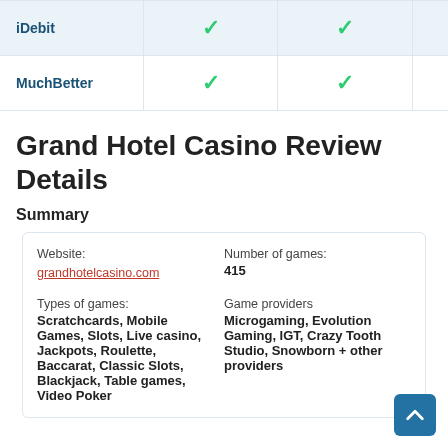| Payment Method | Deposit | Withdrawal |  |
| --- | --- | --- | --- |
| iDebit | ✓ | ✓ |  |
| MuchBetter | ✓ | ✓ |  |
Grand Hotel Casino Review Details
Summary
| Website: | Number of games: |
| grandhotelcasino.com | 415 |
| Types of games: | Game providers |
| Scratchcards, Mobile Games, Slots, Live casino, Jackpots, Roulette, Baccarat, Classic Slots, Blackjack, Table games, Video Poker | Microgaming, Evolution Gaming, IGT, Crazy Tooth Studio, Snowborn + other providers |